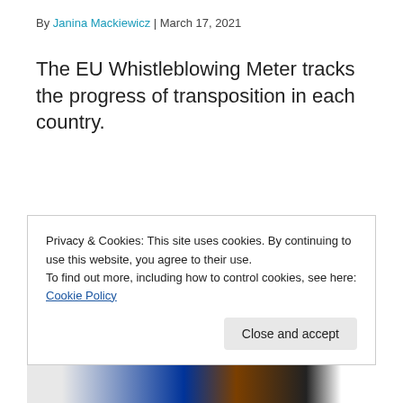By Janina Mackiewicz | March 17, 2021
The EU Whistleblowing Meter tracks the progress of transposition in each country.
Privacy & Cookies: This site uses cookies. By continuing to use this website, you agree to their use.
To find out more, including how to control cookies, see here: Cookie Policy
Close and accept